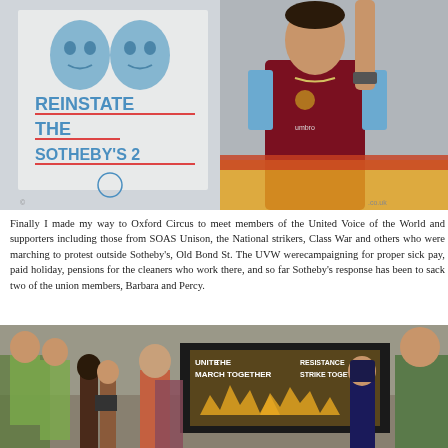[Figure (photo): Protest photo showing a banner reading 'REINSTATE THE SOTHEBY'S 2' with blue text and two illustrated faces, alongside a young man in a West Ham football shirt marching with other protesters.]
Finally I made my way to Oxford Circus to meet members of the United Voice of the World and supporters including those from SOAS Unison, the National strikers, Class War and others who were marching to protest outside Sotheby's, Old Bond St. The UVW werecampaigning for proper sick pay, paid holiday, pensions for the cleaners who work there, and so far Sotheby's response has been to sack two of the union members, Barbara and Percy.
[Figure (photo): Street protest scene with police officers and marchers carrying a banner reading 'UNITE MARCH TOGETHER RESISTANCE STRIKE TOGETHER' with black and yellow design, photographers and crowds visible.]